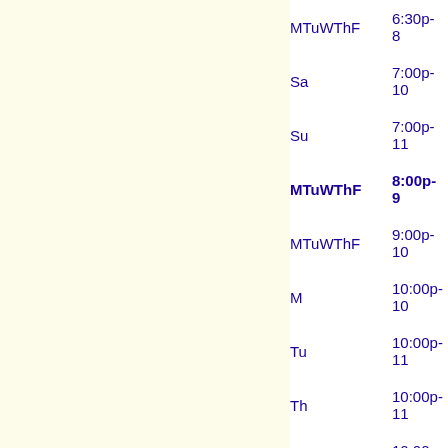| Day | Time |
| --- | --- |
| MTuWThF | 6:30p- 8 |
| Sa | 7:00p-10 |
| Su | 7:00p-11 |
| MTuWThF | 8:00p- 9 |
| MTuWThF | 9:00p-10 |
| M | 10:00p-10 |
| Tu | 10:00p-11 |
| Th | 10:00p-11 |
| F | 10:00p-11 |
| Sa | 10:00p-11 |
| M | 10:30p-11 |